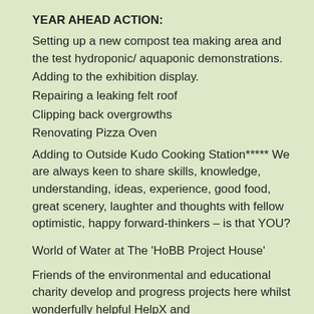YEAR AHEAD ACTION:
Setting up a new compost tea making area and the test hydroponic/ aquaponic demonstrations.
Adding to the exhibition display.
Repairing a leaking felt roof
Clipping back overgrowths
Renovating Pizza Oven
Adding to Outside Kudo Cooking Station***** We are always keen to share skills, knowledge, understanding, ideas, experience, good food, great scenery, laughter and thoughts with fellow optimistic, happy forward-thinkers – is that YOU?
World of Water at The 'HoBB Project House'
Friends of the environmental and educational charity develop and progress projects here whilst wonderfully helpful HelpX and Wwoofers share experience from all over the World to provide an